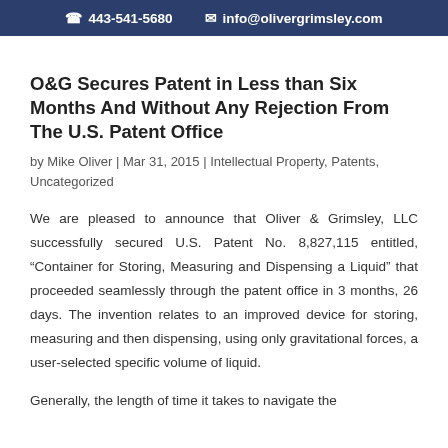443-541-5680  info@olivergrimsley.com
O&G Secures Patent in Less than Six Months And Without Any Rejection From The U.S. Patent Office
by Mike Oliver | Mar 31, 2015 | Intellectual Property, Patents, Uncategorized
We are pleased to announce that Oliver & Grimsley, LLC successfully secured U.S. Patent No. 8,827,115 entitled, “Container for Storing, Measuring and Dispensing a Liquid” that proceeded seamlessly through the patent office in 3 months, 26 days. The invention relates to an improved device for storing, measuring and then dispensing, using only gravitational forces, a user-selected specific volume of liquid.
Generally, the length of time it takes to navigate the